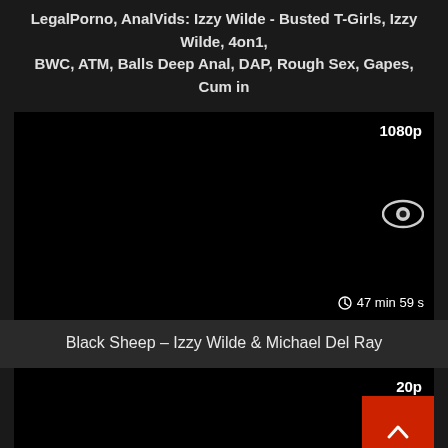LegalPorno, AnalVids: Izzy Wilde - Busted T-Girls, Izzy Wilde, 4on1, BWC, ATM, Balls Deep Anal, DAP, Rough Sex, Gapes, Cum in
[Figure (screenshot): Black video thumbnail with 1080p label in top right, eye icon in right center, and clock icon with '47 min 59 s' in bottom right]
Black Sheep – Izzy Wilde & Michael Del Ray
[Figure (screenshot): Second black video thumbnail partially visible with partially visible resolution label '20p' and a red back-to-top button with upward arrow]